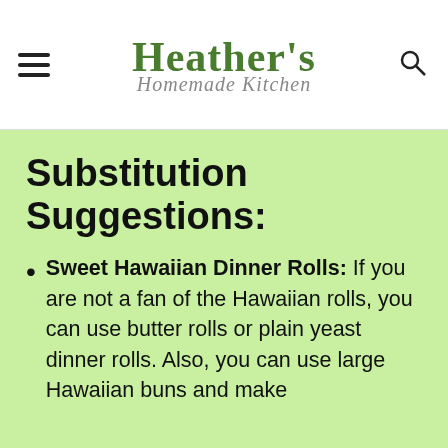Heather's Homemade Kitchen
Substitution Suggestions:
Sweet Hawaiian Dinner Rolls: If you are not a fan of the Hawaiian rolls, you can use butter rolls or plain yeast dinner rolls. Also, you can use large Hawaiian buns and make